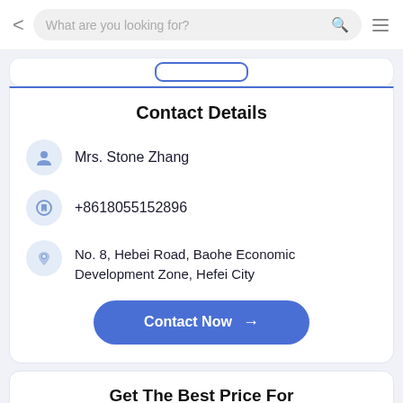What are you looking for?
Contact Details
Mrs. Stone Zhang
+8618055152896
No. 8, Hebei Road, Baohe Economic Development Zone, Hefei City
Contact Now →
Get The Best Price For